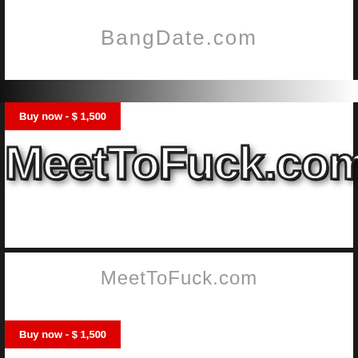BangDate.com
Buy now - $ 1,500
[Figure (logo): MeetToFuck.com domain name logo in large bold white text with black outline and drop shadow]
MeetToFuck.com
Buy now - $ 1,500
[Figure (logo): GratisPorn.com domain name logo in large bold white text with black outline and drop shadow]